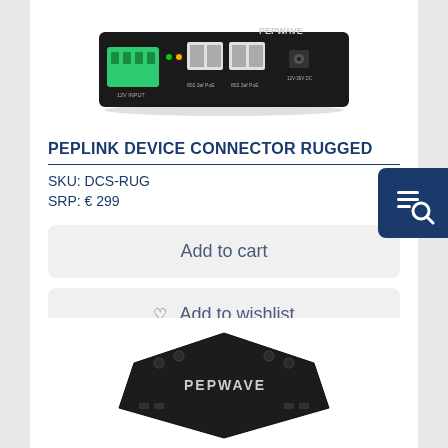[Figure (photo): Pepwave device connector rugged hardware unit shown from top/front angle — black enclosure with green terminal connectors, RJ45 ports, and Pepwave branding]
PEPLINK DEVICE CONNECTOR RUGGED
SKU: DCS-RUG
SRP: € 299
Add to cart
Add to wishlist
[Figure (photo): Partially visible Pepwave device at bottom of page — black hexagonal/angular enclosure with Pepwave branding, seen from above]